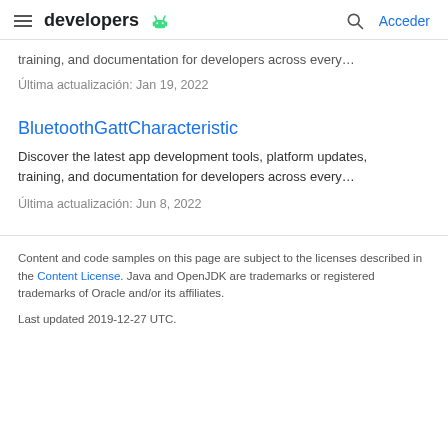developers — Acceder
training, and documentation for developers across every…
Última actualización: Jan 19, 2022
BluetoothGattCharacteristic
Discover the latest app development tools, platform updates, training, and documentation for developers across every…
Última actualización: Jun 8, 2022
Content and code samples on this page are subject to the licenses described in the Content License. Java and OpenJDK are trademarks or registered trademarks of Oracle and/or its affiliates.
Last updated 2019-12-27 UTC.